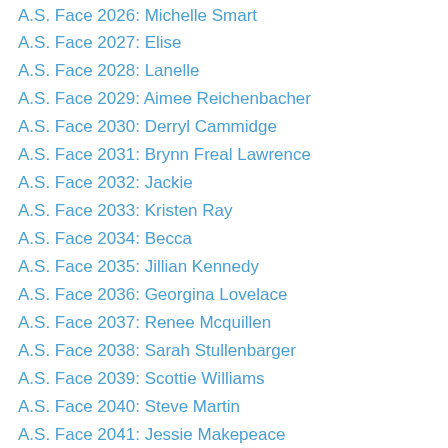A.S. Face 2026: Michelle Smart
A.S. Face 2027: Elise
A.S. Face 2028: Lanelle
A.S. Face 2029: Aimee Reichenbacher
A.S. Face 2030: Derryl Cammidge
A.S. Face 2031: Brynn Freal Lawrence
A.S. Face 2032: Jackie
A.S. Face 2033: Kristen Ray
A.S. Face 2034: Becca
A.S. Face 2035: Jillian Kennedy
A.S. Face 2036: Georgina Lovelace
A.S. Face 2037: Renee Mcquillen
A.S. Face 2038: Sarah Stullenbarger
A.S. Face 2039: Scottie Williams
A.S. Face 2040: Steve Martin
A.S. Face 2041: Jessie Makepeace
A.S. Face 2042: Sheila Weitkamp
A.S. Face 2043: Christa Seats
A.S. Face 2044: Sarah Cacciatore
A.S. Face 2045: Missy Kelly